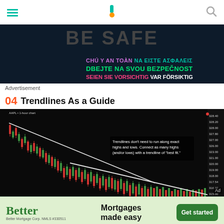Navigation header with hamburger menu, logo, and search icon
[Figure (screenshot): Advertisement banner with dark background showing multilingual safety warnings in various colors: CHÚ Y AN TOÀN, NA EIΣTE AΣΦAΛEIΣ, DBEJTE NA SVOU BEZPEČNOST, SEIEN SIE VORSICHTIG, VAR FÖRSIKTIG]
Advertisement
04  Trendlines As a Guide
[Figure (screenshot): Trading chart on black background showing candlestick price action with a descending trendline drawn as a best fit through multiple highs and lows. White text overlay reads: Trendlines don't need to run along exact highs and lows. Connect as many highs (and/or lows) with a trendline of best fit.]
[Figure (other): Better Mortgage advertisement banner: Better Mortgages made easy, Get started button, Better Mortgage Corp. NMLS #330511]